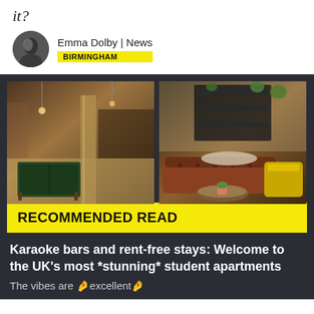it?
Emma Dolby | News
BIRMINGHAM
[Figure (photo): Two interior photos side by side: left shows an industrial-style room with a pool table, exposed brick and columns; right shows a lounge with a brown leather Chesterfield sofa and yellow armchairs]
RECOMMENDED READ
Karaoke bars and rent-free stays: Welcome to the UK's most *stunning* student apartments
The vibes are 🤌excellent🤌